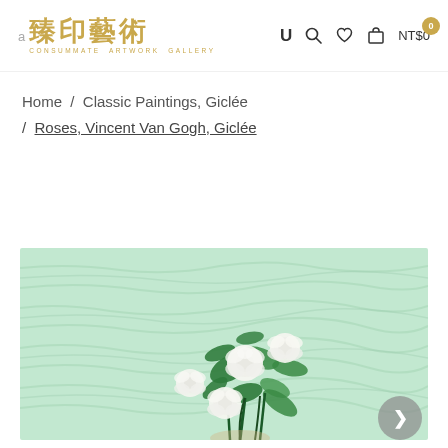a 臻印藝術 CONSUMMATE ARTWORK GALLERY — U [search] [heart] [cart] NT$0
Home  /  Classic Paintings, Giclée  /  Roses, Vincent Van Gogh, Giclée
[Figure (photo): Van Gogh Roses painting — white roses with green leaves against a mint/light green brushstroke background. A navigation arrow button (grey circle with right arrow) appears in the bottom-right corner of the image.]